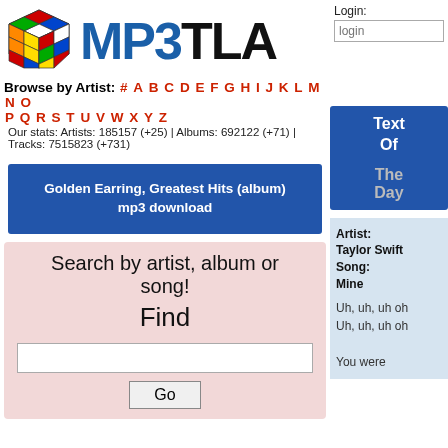[Figure (logo): Rubik's cube colorful logo icon]
MP3TLA
Browse by Artist: # A B C D E F G H I J K L M N O P Q R S T U V W X Y Z
Our stats: Artists: 185157 (+25) | Albums: 692122 (+71) | Tracks: 7515823 (+731)
Golden Earring, Greatest Hits (album) mp3 download
Text Of The Day
Search by artist, album or song!
Find
Go
Login:
Artist: Taylor Swift Song: Mine
Uh, uh, uh oh
Uh, uh, uh oh

You were